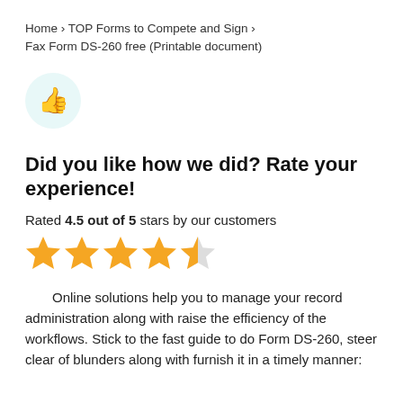Home › TOP Forms to Compete and Sign › Fax Form DS-260 free (Printable document)
[Figure (illustration): Yellow thumbs-up emoji icon inside a light teal circular background]
Did you like how we did? Rate your experience!
Rated 4.5 out of 5 stars by our customers
[Figure (other): 4.5 out of 5 gold stars rating — four full stars and one half star]
Online solutions help you to manage your record administration along with raise the efficiency of the workflows. Stick to the fast guide to do Form DS-260, steer clear of blunders along with furnish it in a timely manner: